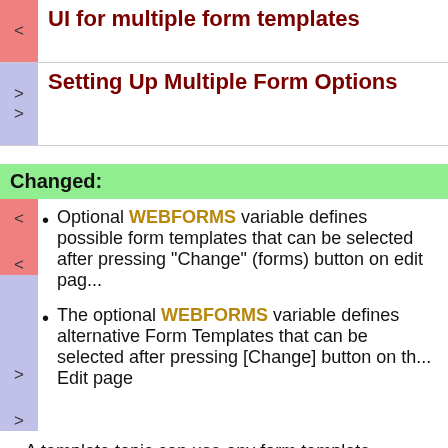UI for multiple form templates
Setting Up Multiple Form Options
Changed:
Optional WEBFORMS variable defines possible form templates that can be selected after pressing "Change" (forms) button on edit page
The optional WEBFORMS variable defines alternative Form Templates that can be selected after pressing [Change] button on the Edit page
A template topic can use any form template
Decided not to ask user to choose a template or form template when creating a topic as